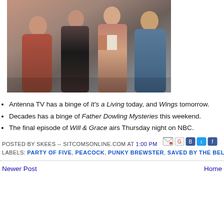[Figure (photo): Group photo of four people (TV show cast) posed together against a light background]
Antenna TV has a binge of It's a Living today, and Wings tomorrow.
Decades has a binge of Father Dowling Mysteries this weekend.
The final episode of Will & Grace airs Thursday night on NBC.
POSTED BY SKEES -- SITCOMSONLINE.COM AT 1:00 PM
LABELS: PARTY OF FIVE, PEACOCK, PUNKY BREWSTER, SAVED BY THE BEL...
Newer Post | Home